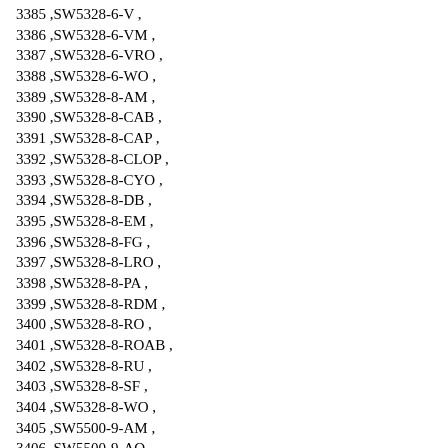3385 ,SW5328-6-V ,
3386 ,SW5328-6-VM ,
3387 ,SW5328-6-VRO ,
3388 ,SW5328-6-WO ,
3389 ,SW5328-8-AM ,
3390 ,SW5328-8-CAB ,
3391 ,SW5328-8-CAP ,
3392 ,SW5328-8-CLOP ,
3393 ,SW5328-8-CYO ,
3394 ,SW5328-8-DB ,
3395 ,SW5328-8-EM ,
3396 ,SW5328-8-FG ,
3397 ,SW5328-8-LRO ,
3398 ,SW5328-8-PA ,
3399 ,SW5328-8-RDM ,
3400 ,SW5328-8-RO ,
3401 ,SW5328-8-ROAB ,
3402 ,SW5328-8-RU ,
3403 ,SW5328-8-SF ,
3404 ,SW5328-8-WO ,
3405 ,SW5500-9-AM ,
3406 ,SW5500-9-AQ ,
3407 ,SW5500-9-CAB ,
3408 ,SW5500-9-EM ,
3409 ,SW5500-9-SP ,
3410 ,SW5698-4-C ,